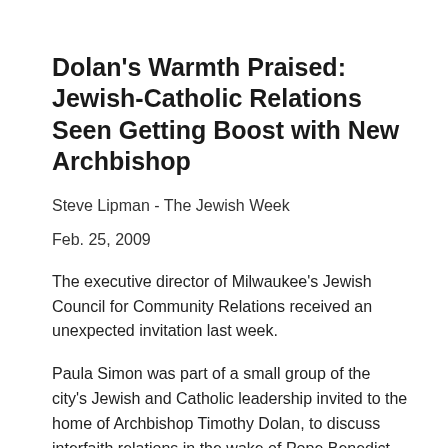Dolan's Warmth Praised: Jewish-Catholic Relations Seen Getting Boost with New Archbishop
Steve Lipman - The Jewish Week
Feb. 25, 2009
The executive director of Milwaukee's Jewish Council for Community Relations received an unexpected invitation last week.
Paula Simon was part of a small group of the city's Jewish and Catholic leadership invited to the home of Archbishop Timothy Dolan, to discuss interfaith relations in the wake of Pope Benedict XVI's decision to end the Vatican's ban against a bishop who had denied the Holocaust